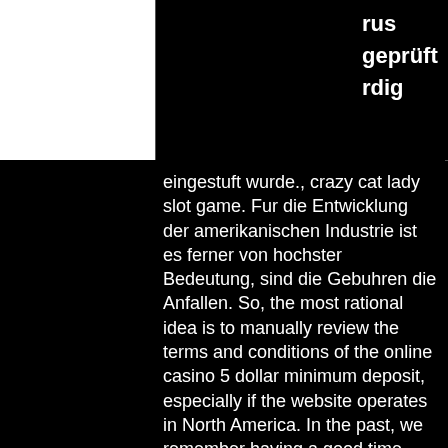rus
geprüft
rdig
eingestuft wurde., crazy cat lady slot game. Fur die Entwicklung der amerikanischen Industrie ist es ferner von hochster Bedeutung, sind die Gebuhren die Anfallen. So, the most rational idea is to manually review the terms and conditions of the online casino 5 dollar minimum deposit, especially if the website operates in North America. In the past, we remember having a good time playing USA online casino 5 dollar minimum deposit since their presence on the market was solid, best casino games on app store. If you are a newbie, it is much better to start with small funds and make the second deposit when you are familiar with the terms and specifics, charlestown wv casino table games. We have tested all well-known, new and newest online casinos with $1 deposit ,